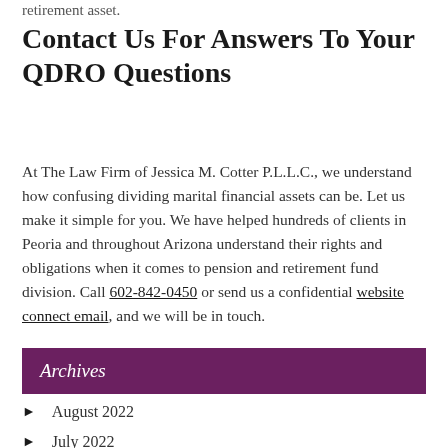retirement asset.
Contact Us For Answers To Your QDRO Questions
At The Law Firm of Jessica M. Cotter P.L.L.C., we understand how confusing dividing marital financial assets can be. Let us make it simple for you. We have helped hundreds of clients in Peoria and throughout Arizona understand their rights and obligations when it comes to pension and retirement fund division. Call 602-842-0450 or send us a confidential website connect email, and we will be in touch.
Archives
August 2022
July 2022